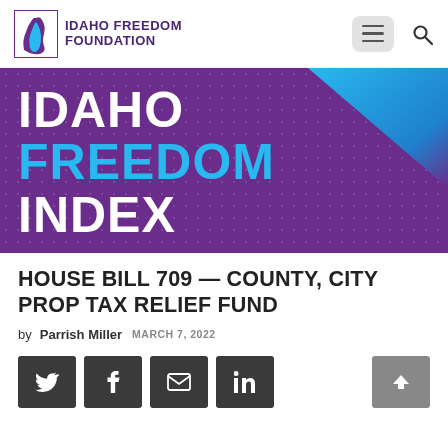IDAHO FREEDOM FOUNDATION
[Figure (logo): Idaho Freedom Foundation logo with stylized Idaho state silhouette icon and purple text reading IDAHO FREEDOM FOUNDATION]
[Figure (illustration): Idaho Freedom Index banner with purple background, dot pattern texture, blue diagonal accent in top-right corner, and large text reading IDAHO FREEDOM INDEX in white and blue]
HOUSE BILL 709 — COUNTY, CITY PROP TAX RELIEF FUND
by Parrish Miller  MARCH 7, 2022
[Figure (infographic): Social sharing buttons for Twitter, Facebook, Email, and LinkedIn in dark gray, plus a scroll-to-top button in gray]